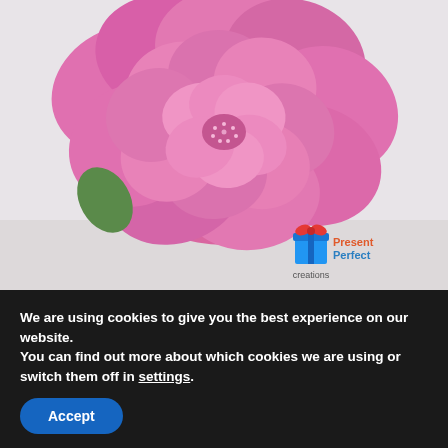[Figure (photo): Close-up photograph of a large pink peony flower with layered petals on a light background. A 'Present Perfect Creations' logo appears in the bottom-right corner of the image.]
We are using cookies to give you the best experience on our website.
You can find out more about which cookies we are using or switch them off in settings.
Accept